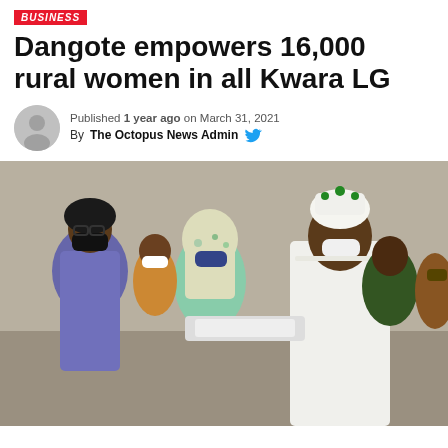BUSINESS
Dangote empowers 16,000 rural women in all Kwara LG
Published 1 year ago on March 31, 2021
By The Octopus News Admin
[Figure (photo): A woman in a patterned dress and black face mask stands next to a woman in a floral hijab and face mask, with a man in white traditional attire and decorated cap handing over a document or envelope. Several people stand in the background.]